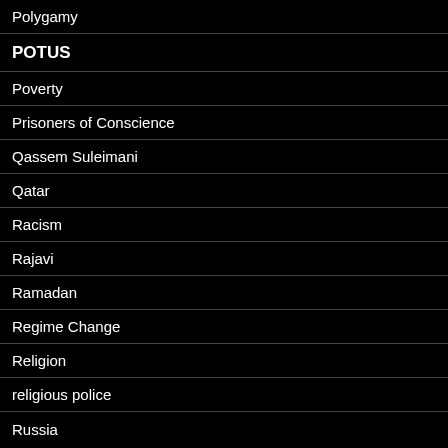Polygamy
POTUS
Poverty
Prisoners of Conscience
Qassem Suleimani
Qatar
Racism
Rajavi
Ramadan
Regime Change
Religion
religious police
Russia